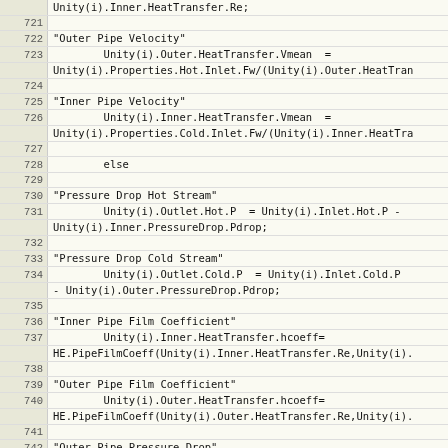Code listing lines 721-746, showing heat exchanger simulation code in a structured programming language
| Line | Code |
| --- | --- |
|  | Unity(i).Inner.HeatTransfer.Re; |
| 721 |  |
| 722 | "Outer Pipe Velocity" |
| 723 |         Unity(i).Outer.HeatTransfer.Vmean  = |
|  | Unity(i).Properties.Hot.Inlet.Fw/(Unity(i).Outer.HeatTran |
| 724 |  |
| 725 | "Inner Pipe Velocity" |
| 726 |         Unity(i).Inner.HeatTransfer.Vmean  = |
|  | Unity(i).Properties.Cold.Inlet.Fw/(Unity(i).Inner.HeatTra |
| 727 |  |
| 728 |         else |
| 729 |  |
| 730 | "Pressure Drop Hot Stream" |
| 731 |         Unity(i).Outlet.Hot.P  = Unity(i).Inlet.Hot.P - |
|  | Unity(i).Inner.PressureDrop.Pdrop; |
| 732 |  |
| 733 | "Pressure Drop Cold Stream" |
| 734 |         Unity(i).Outlet.Cold.P  = Unity(i).Inlet.Cold.P |
|  | - Unity(i).Outer.PressureDrop.Pdrop; |
| 735 |  |
| 736 | "Inner Pipe Film Coefficient" |
| 737 |         Unity(i).Inner.HeatTransfer.hcoeff= |
|  | HE.PipeFilmCoeff(Unity(i).Inner.HeatTransfer.Re,Unity(i). |
| 738 |  |
| 739 | "Outer Pipe Film Coefficient" |
| 740 |         Unity(i).Outer.HeatTransfer.hcoeff= |
|  | HE.PipeFilmCoeff(Unity(i).Outer.HeatTransfer.Re,Unity(i). |
| 741 |  |
| 742 | "Outer Pipe Pressure Drop" |
| 743 |         Unity(i).Outer.PressureDrop.Pdrop = |
|  | (2*Unity(i).Outer.PressureDrop.fi*Lpipe*Unity(i).Properti |
| 744 |  |
| 745 | "Inner Pipe Pressure Drop" |
| 746 |         Unity(i).Inner.PressureDrop.Pdrop  = |